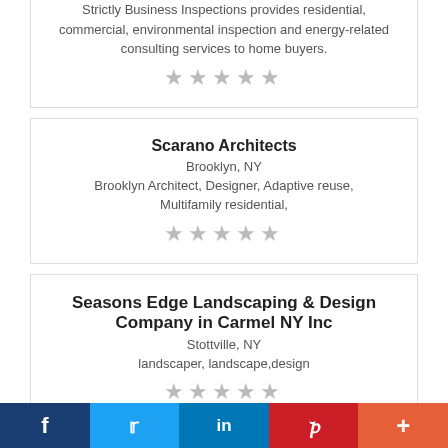Strictly Business Inspections provides residential, commercial, environmental inspection and energy-related consulting services to home buyers.
★★★★★
Scarano Architects
Brooklyn, NY
Brooklyn Architect, Designer, Adaptive reuse, Multifamily residential,
★★★★★
Seasons Edge Landscaping & Design Company in Carmel NY Inc
Stottville, NY
landscaper, landscape,design
★★★★★